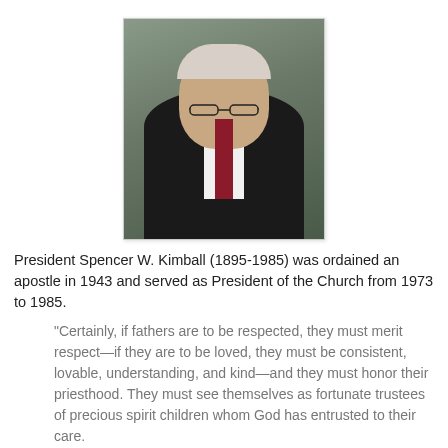[Figure (photo): Portrait photo of President Spencer W. Kimball, an elderly man in a dark suit with a dark red tie, wearing glasses, against a grey-green background.]
President Spencer W. Kimball (1895-1985) was ordained an apostle in 1943 and served as President of the Church from 1973 to 1985.
"Certainly, if fathers are to be respected, they must merit respect—if they are to be loved, they must be consistent, lovable, understanding, and kind—and they must honor their priesthood. They must see themselves as fortunate trustees of precious spirit children whom God has entrusted to their care.